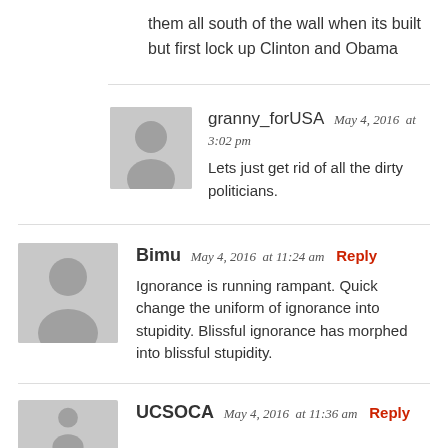them all south of the wall when its built but first lock up Clinton and Obama
granny_forUSA May 4, 2016 at 3:02 pm
Lets just get rid of all the dirty politicians.
Bimu May 4, 2016 at 11:24 am Reply
Ignorance is running rampant. Quick change the uniform of ignorance into stupidity. Blissful ignorance has morphed into blissful stupidity.
UCSOCA May 4, 2016 at 11:36 am Reply
Stop the insanity...